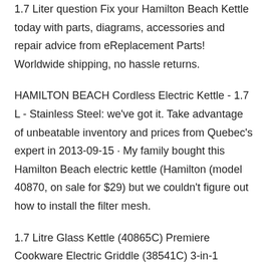1.7 Liter question Fix your Hamilton Beach Kettle today with parts, diagrams, accessories and repair advice from eReplacement Parts! Worldwide shipping, no hassle returns.
HAMILTON BEACH Cordless Electric Kettle - 1.7 L - Stainless Steel: we've got it. Take advantage of unbeatable inventory and prices from Quebec's expert in 2013-09-15 · My family bought this Hamilton Beach electric kettle (Hamilton (model 40870, on sale for $29) but we couldn't figure out how to install the filter mesh.
1.7 Litre Glass Kettle (40865C) Premiere Cookware Electric Griddle (38541C) 3-in-1 Grill/Griddle Hamilton Beach Professional. Hamilton Beach Electric Kettle Instructions Free Hamilton Beach Electric Kettle help, support & customer service. Ask your Home and Garden questions.
1.7 Litre Glass Kettle (40865C) Premiere Cookware Electric